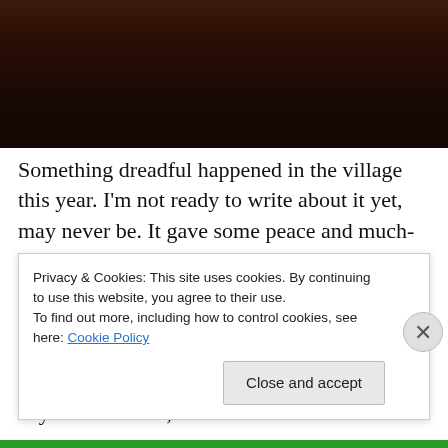[Figure (photo): Dark photograph, mostly black/dark brown tones, partial view of an object against a very dark background.]
Something dreadful happened in the village this year. I'm not ready to write about it yet, may never be. It gave some peace and much-needed pleasure to prepare and then eat together at the cheerful looking table; to take a postpandrial walk in the woods together; to share with friends the downs and ups of busy lives in our different cities. It was indeed a day to remember, as well as to
Privacy & Cookies: This site uses cookies. By continuing to use this website, you agree to their use.
To find out more, including how to control cookies, see here: Cookie Policy